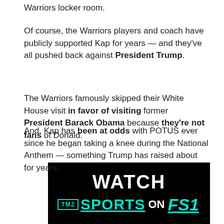Warriors locker room.
Of course, the Warriors players and coach have publicly supported Kap for years — and they've all pushed back against President Trump.
The Warriors famously skipped their White House visit in favor of visiting former President Barack Obama because they're not fans of Donald.
And, Kap has been at odds with POTUS ever since he began taking a knee during the National Anthem — something Trump has raised about for years.
[Figure (other): TMZ Sports advertisement banner on black background reading WATCH TMZ SPORTS ON FS1 in white and cyan/teal text]